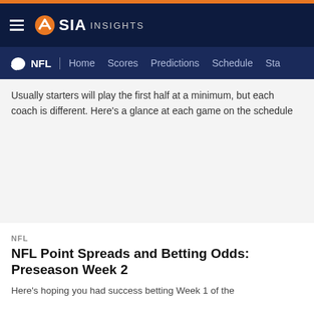SIA INSIGHTS
NFL | Home Scores Predictions Schedule Sta...
Usually starters will play the first half at a minimum, but each coach is different. Here’s a glance at each game on the schedule
NFL
NFL Point Spreads and Betting Odds: Preseason Week 2
Here’s hoping you had success betting Week 1 of the